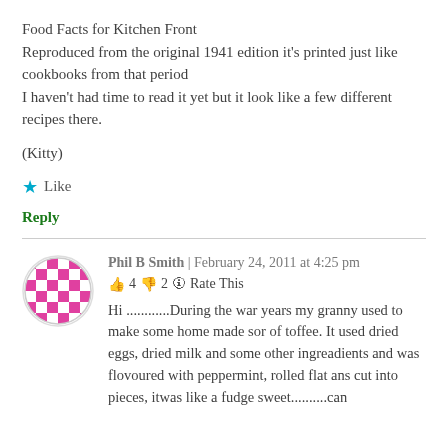Food Facts for Kitchen Front
Reproduced from the original 1941 edition it's printed just like cookbooks from that period
I haven't had time to read it yet but it look like a few different recipes there.
(Kitty)
★ Like
Reply
Phil B Smith | February 24, 2011 at 4:25 pm
👍 4 👎 2 ℹ Rate This
Hi ............During the war years my granny used to make some home made sor of toffee. It used dried eggs, dried milk and some other ingreadients and was flovoured with peppermint, rolled flat ans cut into pieces, itwas like a fudge sweet..........can